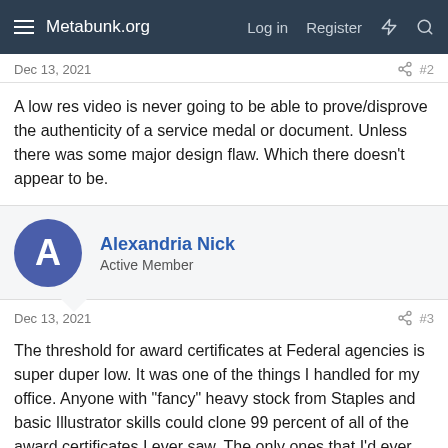Metabunk.org  Log in  Register
Dec 13, 2021  #2
A low res video is never going to be able to prove/disprove the authenticity of a service medal or document. Unless there was some major design flaw. Which there doesn't appear to be.
Alexandria Nick
Active Member
Dec 13, 2021  #3
The threshold for award certificates at Federal agencies is super duper low. It was one of the things I handled for my office. Anyone with "fancy" heavy stock from Staples and basic Illustrator skills could clone 99 percent of all of the award certificates I ever saw. The only ones that I'd ever consider "real" are ones that have embossing on them (difficult to duplicate) or have some sort of applied sticker (also difficult to duplicate).